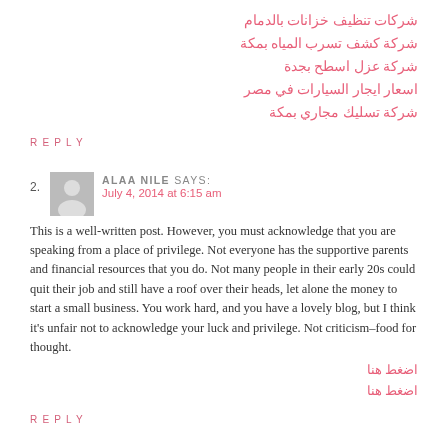شركات تنظيف خزانات بالدمام
شركة كشف تسرب المياه بمكة
شركة عزل اسطح بجدة
اسعار ايجار السيارات في مصر
شركة تسليك مجاري بمكة
REPLY
2. ALAA NILE SAYS:
July 4, 2014 at 6:15 am
This is a well-written post. However, you must acknowledge that you are speaking from a place of privilege. Not everyone has the supportive parents and financial resources that you do. Not many people in their early 20s could quit their job and still have a roof over their heads, let alone the money to start a small business. You work hard, and you have a lovely blog, but I think it's unfair not to acknowledge your luck and privilege. Not criticism–food for thought.
اضغط هنا
اضغط هنا
REPLY
3. ROSE YEUNG SAYS: